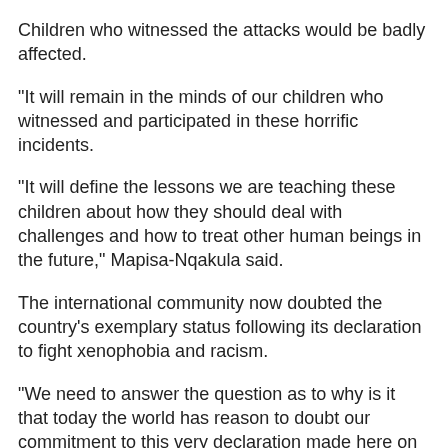Children who witnessed the attacks would be badly affected.
"It will remain in the minds of our children who witnessed and participated in these horrific incidents.
"It will define the lessons we are teaching these children about how they should deal with challenges and how to treat other human beings in the future," Mapisa-Nqakula said.
The international community now doubted the country’s exemplary status following its declaration to fight xenophobia and racism.
"We need to answer the question as to why is it that today the world has reason to doubt our commitment to this very declaration made here on our soil."
Mapisa-Nqakula then extended her apologies to all South Africans and foreign nationals "who fell victim to the crimes of hate that have blotted our image at home and abroad". - Sapa